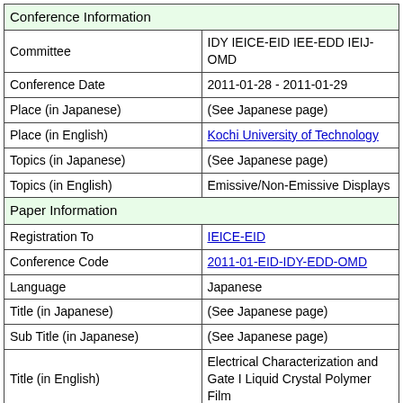| Conference Information |  |
| Committee | IDY IEICE-EID IEE-EDD IEIJ-OMD |
| Conference Date | 2011-01-28 - 2011-01-29 |
| Place (in Japanese) | (See Japanese page) |
| Place (in English) | Kochi University of Technology |
| Topics (in Japanese) | (See Japanese page) |
| Topics (in English) | Emissive/Non-Emissive Displays |
| Paper Information |  |
| Registration To | IEICE-EID |
| Conference Code | 2011-01-EID-IDY-EDD-OMD |
| Language | Japanese |
| Title (in Japanese) | (See Japanese page) |
| Sub Title (in Japanese) | (See Japanese page) |
| Title (in English) | Electrical Characterization and Gate I Liquid Crystal Polymer Film |
| Sub Title (in English) |  |
| Keyword(1) |  |
| Keyword(2) |  |